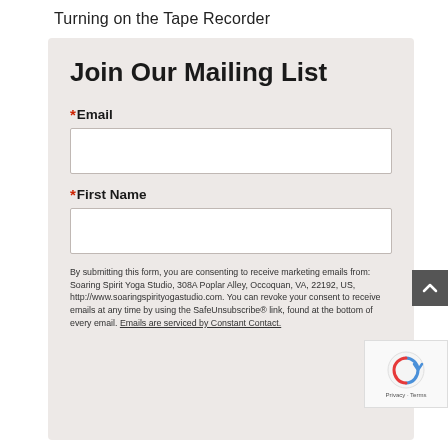Turning on the Tape Recorder
Join Our Mailing List
*Email
*First Name
By submitting this form, you are consenting to receive marketing emails from: Soaring Spirit Yoga Studio, 308A Poplar Alley, Occoquan, VA, 22192, US, http://www.soaringspirityogastudio.com. You can revoke your consent to receive emails at any time by using the SafeUnsubscribe® link, found at the bottom of every email. Emails are serviced by Constant Contact.